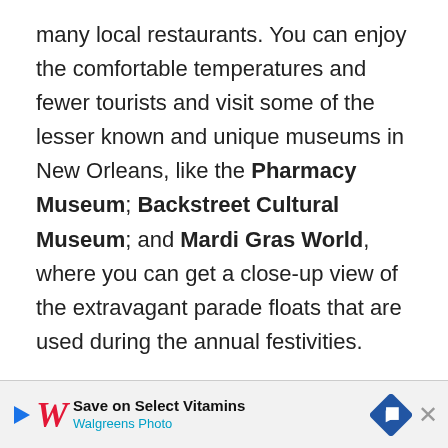many local restaurants. You can enjoy the comfortable temperatures and fewer tourists and visit some of the lesser known and unique museums in New Orleans, like the Pharmacy Museum; Backstreet Cultural Museum; and Mardi Gras World, where you can get a close-up view of the extravagant parade floats that are used during the annual festivities.

December: Some of the best things to do in December in New Orleans involve the festive feel of the holidays, as the city is decked out with decorations. Visit The Roosevelt New Orleans historic hotel for one of the most stunning light dis...
[Figure (other): Advertisement banner for Walgreens Photo: Save on Select Vitamins. Shows Walgreens cursive logo, navigation icon, and close button.]